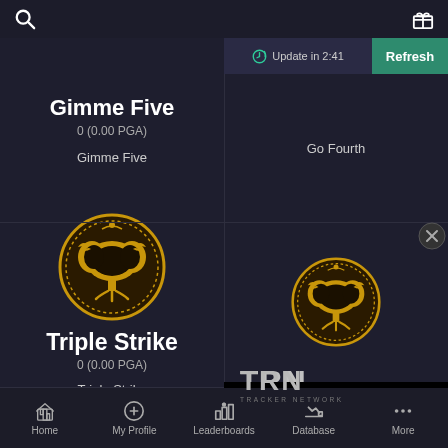Search | Gift
Update in 2:41 | Refresh
Gimme Five
0 (0.00 PGA)
Gimme Five
Go Fourth
[Figure (illustration): Gold coin with tree and birds emblem - Triple Strike badge, left panel]
Triple Strike
0 (0.00 PGA)
Triple Strike
[Figure (illustration): Gold coin with tree and birds emblem - right panel]
[Figure (logo): TRN Tracker Network logo on dark background]
Home | My Profile | Leaderboards | Database | More